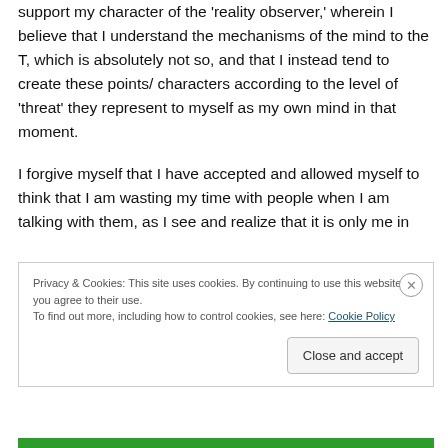support my character of the 'reality observer,' wherein I believe that I understand the mechanisms of the mind to the T, which is absolutely not so, and that I instead tend to create these points/ characters according to the level of 'threat' they represent to myself as my own mind in that moment.
I forgive myself that I have accepted and allowed myself to think that I am wasting my time with people when I am talking with them, as I see and realize that it is only me in
Privacy & Cookies: This site uses cookies. By continuing to use this website, you agree to their use.
To find out more, including how to control cookies, see here: Cookie Policy
Close and accept